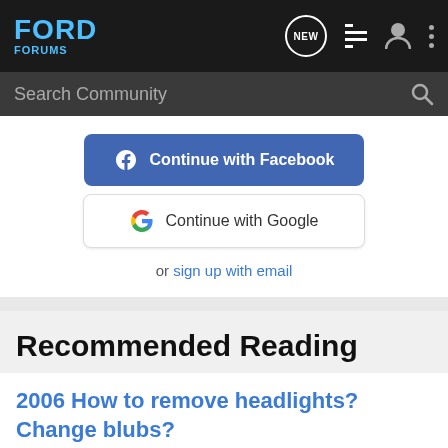FORD FORUMS
Search Community
Continue with Facebook
Continue with Google
or sign up with email
Recommended Reading
2006 How to remove headlights? Change blubs?
Ford Expedition Forum - Lincoln Navigator Forum
2  22K